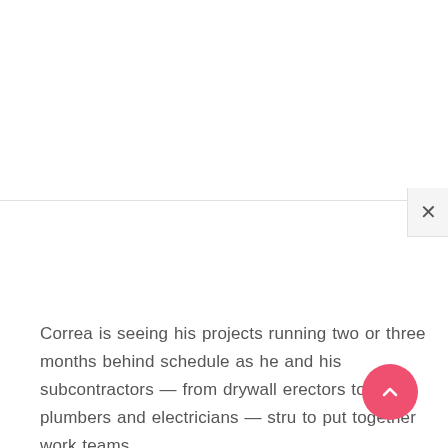[Figure (screenshot): A web page screenshot showing a modal or overlay with a close (X) button in the top-right corner and a horizontal divider line. The upper portion is blank white content area. A pink/red circular scroll-to-top button appears in the lower right.]
Correa is seeing his projects running two or three months behind schedule as he and his subcontractors — from drywall erectors to plumbers and electricians — stru to put together work teams.